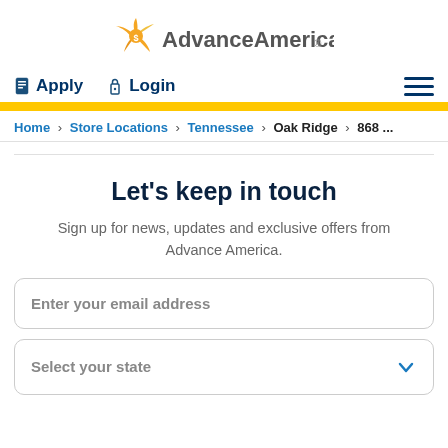[Figure (logo): Advance America logo with orange bird/star icon and gray text]
Apply   Login   (hamburger menu)
Home › Store Locations › Tennessee › Oak Ridge › 868 ...
Let's keep in touch
Sign up for news, updates and exclusive offers from Advance America.
Enter your email address
Select your state